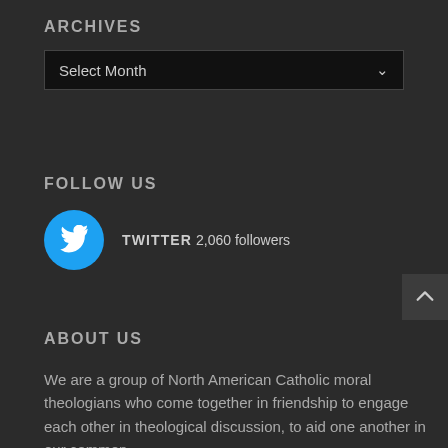ARCHIVES
[Figure (screenshot): A dark dropdown select box with 'Select Month' label and a chevron arrow on the right]
FOLLOW US
[Figure (infographic): Twitter circle icon (cyan/blue) followed by text: TWITTER 2,060 followers]
[Figure (other): Back-to-top button with an upward chevron arrow on dark background]
ABOUT US
We are a group of North American Catholic moral theologians who come together in friendship to engage each other in theological discussion, to aid one another in our common